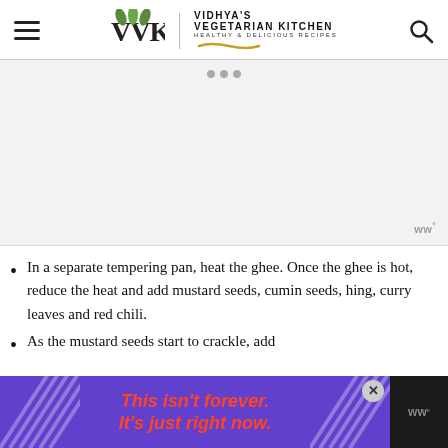Vidhya's Vegetarian Kitchen — Healthy & Delicious Recipes
[Figure (other): Advertisement placeholder banner, light gray background with three small dots at top and a Wt° badge at bottom right]
In a separate tempering pan, heat the ghee. Once the ghee is hot, reduce the heat and add mustard seeds, cumin seeds, hing, curry leaves and red chili.
As the mustard seeds start to crackle, add
[Figure (other): Purple advertisement banner at bottom reading This isn't forever. It's just right now. in orange-red italic text, with striped graphic design on sides and a close X button]